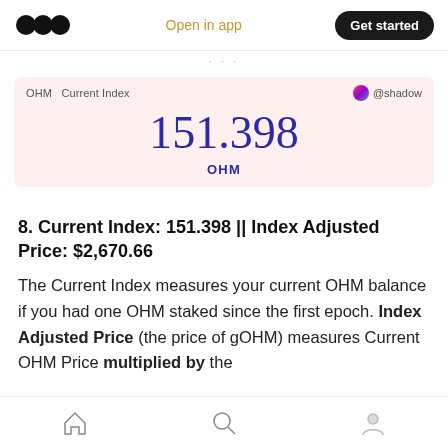Open in app | Get started
[Figure (screenshot): OHM Current Index dashboard card showing value 151.398 OHM with @shadow user attribution on a pink background]
8. Current Index: 151.398 || Index Adjusted Price: $2,670.66
The Current Index measures your current OHM balance if you had one OHM staked since the first epoch. Index Adjusted Price (the price of gOHM) measures Current OHM Price multiplied by the Current Index.
Home | Search | Profile